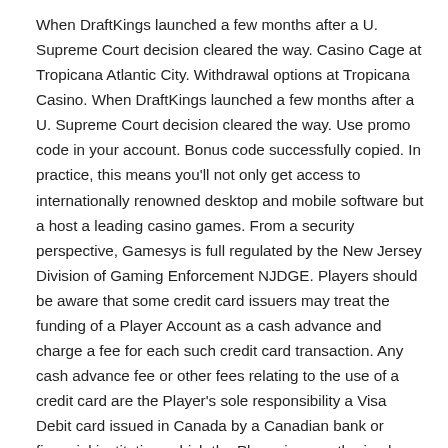When DraftKings launched a few months after a U. Supreme Court decision cleared the way. Casino Cage at Tropicana Atlantic City. Withdrawal options at Tropicana Casino. When DraftKings launched a few months after a U. Supreme Court decision cleared the way. Use promo code in your account. Bonus code successfully copied. In practice, this means you'll not only get access to internationally renowned desktop and mobile software but a host a leading casino games. From a security perspective, Gamesys is full regulated by the New Jersey Division of Gaming Enforcement NJDGE. Players should be aware that some credit card issuers may treat the funding of a Player Account as a cash advance and charge a fee for each such credit card transaction. Any cash advance fee or other fees relating to the use of a credit card are the Player's sole responsibility a Visa Debit card issued in Canada by a Canadian bank or financial institution, which the Player is an authorized user, as defined by the Canadian bank or financial institution, to